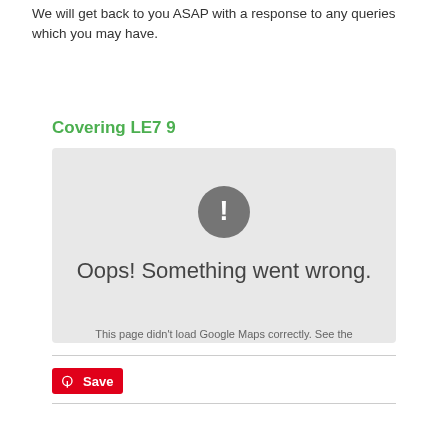We will get back to you ASAP with a response to any queries which you may have.
Covering LE7 9
[Figure (screenshot): A Google Maps error box with a grey background, a dark circle with exclamation mark icon, text 'Oops! Something went wrong.' and subtext 'This page didn't load Google Maps correctly. See the JavaScript console for technical details.']
[Figure (other): Pinterest Save button in red]
[Figure (photo): Two thumbnail images at the bottom of the page]